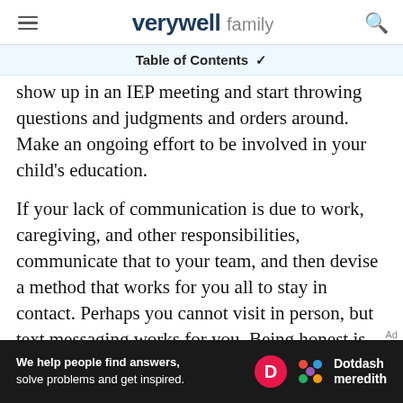verywell family
Table of Contents ✓
show up in an IEP meeting and start throwing questions and judgments and orders around. Make an ongoing effort to be involved in your child's education.
If your lack of communication is due to work, caregiving, and other responsibilities, communicate that to your team, and then devise a method that works for you all to stay in contact. Perhaps you cannot visit in person, but text messaging works for you. Being honest is the best policy and it shows that you're self aware and actively want to be involved in your child's
[Figure (other): Dotdash Meredith advertisement banner: 'We help people find answers, solve problems and get inspired.' with D logo and colorful dots logo]